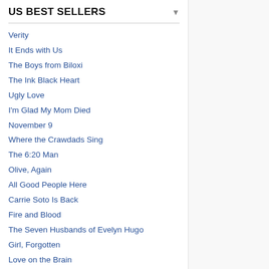US BEST SELLERS
Verity
It Ends with Us
The Boys from Biloxi
The Ink Black Heart
Ugly Love
I'm Glad My Mom Died
November 9
Where the Crawdads Sing
The 6:20 Man
Olive, Again
All Good People Here
Carrie Soto Is Back
Fire and Blood
The Seven Husbands of Evelyn Hugo
Girl, Forgotten
Love on the Brain
Lessons in Chemistry
All Your Perfects